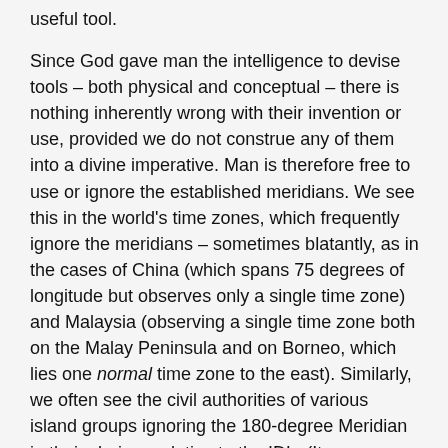useful tool.
Since God gave man the intelligence to devise tools – both physical and conceptual – there is nothing inherently wrong with their invention or use, provided we do not construe any of them into a divine imperative. Man is therefore free to use or ignore the established meridians. We see this in the world's time zones, which frequently ignore the meridians – sometimes blatantly, as in the cases of China (which spans 75 degrees of longitude but observes only a single time zone) and Malaysia (observing a single time zone both on the Malay Peninsula and on Borneo, which lies one normal time zone to the east). Similarly, we often see the civil authorities of various island groups ignoring the 180-degree Meridian in their choices relative to the IDL. (It seems obvious that the date line is just another time zone change, except that in this case, a difference of one hour also means a difference of a day.)
As far as we know, no one has ever suggested that our Seventh-day Adventist members must reckon time in strict accordance with the meridians/lines of longitude, rather than use the generally accepted government-decreed time zones. However, the Southern Pacific Division